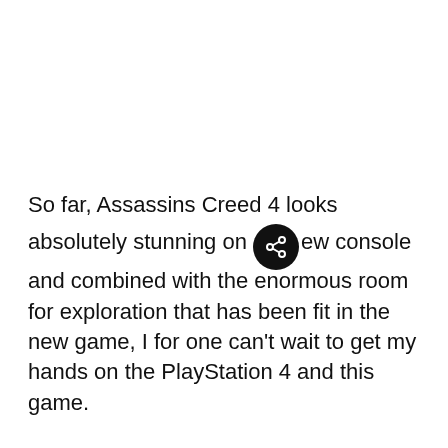So far, Assassins Creed 4 looks absolutely stunning on [share icon] ew console and combined with the enormous room for exploration that has been fit in the new game, I for one can't wait to get my hands on the PlayStation 4 and this game.